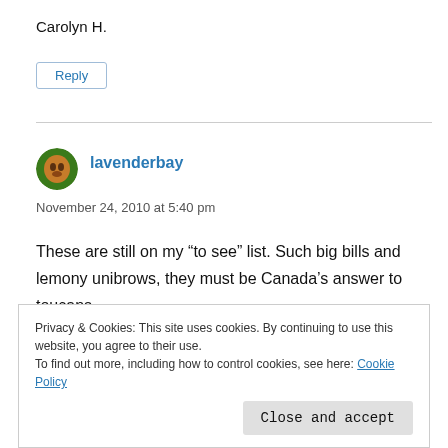Carolyn H.
Reply
lavenderbay
November 24, 2010 at 5:40 pm
These are still on my “to see” list. Such big bills and lemony unibrows, they must be Canada’s answer to toucans.
Privacy & Cookies: This site uses cookies. By continuing to use this website, you agree to their use.
To find out more, including how to control cookies, see here: Cookie Policy
Close and accept